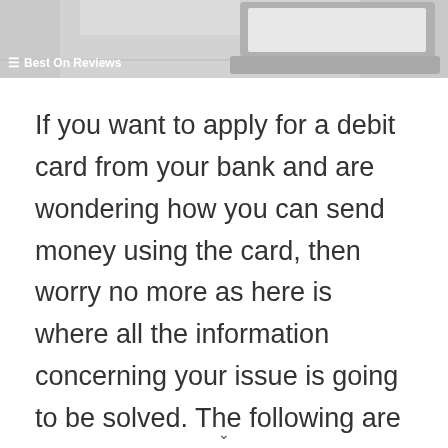[Figure (photo): A laptop on a desk with a white/grey background, with a 'Best On Reviews' watermark overlay in the bottom-left corner of the image.]
If you want to apply for a debit card from your bank and are wondering how you can send money using the card, then worry no more as here is where all the information concerning your issue is going to be solved. The following are the details you need to send money using your debit card online.